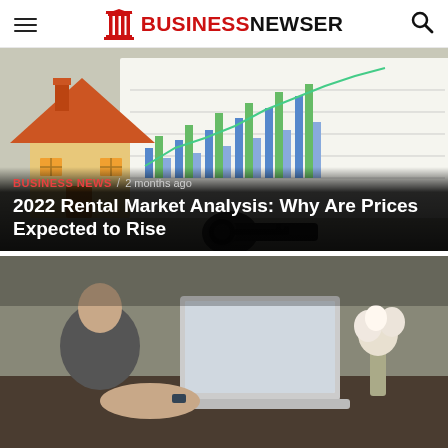BUSINESS NEWSER
[Figure (photo): Miniature wooden house model and car keys on top of financial bar chart graphs, representing rental market analysis]
BUSINESS NEWS / 2 months ago
2022 Rental Market Analysis: Why Are Prices Expected to Rise
[Figure (photo): Person working on laptop at desk with flowers in background, business work environment]